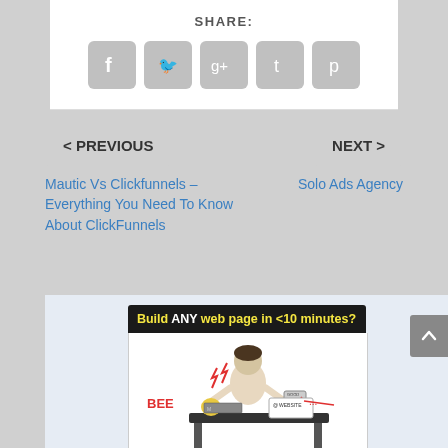SHARE:
[Figure (infographic): Social sharing buttons: Facebook, Twitter, Google+, Tumblr, Pinterest — rounded grey square icons]
< PREVIOUS
NEXT >
Mautic Vs Clickfunnels – Everything You Need To Know About ClickFunnels
Solo Ads Agency
[Figure (illustration): Advertisement banner: 'Build ANY web page in <10 minutes?' with a cartoon illustration of a stressed person at a desk surrounded by BEER, MONEY, website and other chaotic elements]